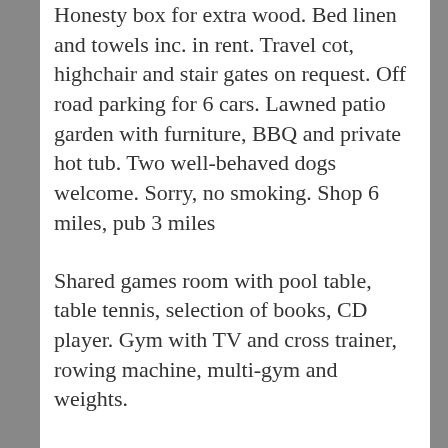Honesty box for extra wood. Bed linen and towels inc. in rent. Travel cot, highchair and stair gates on request. Off road parking for 6 cars. Lawned patio garden with furniture, BBQ and private hot tub. Two well-behaved dogs welcome. Sorry, no smoking. Shop 6 miles, pub 3 miles
Shared games room with pool table, table tennis, selection of books, CD player. Gym with TV and cross trainer, rowing machine, multi-gym and weights.
Fuel, power, wifi and starter pack for wood burner and BBQ inc. in rent.